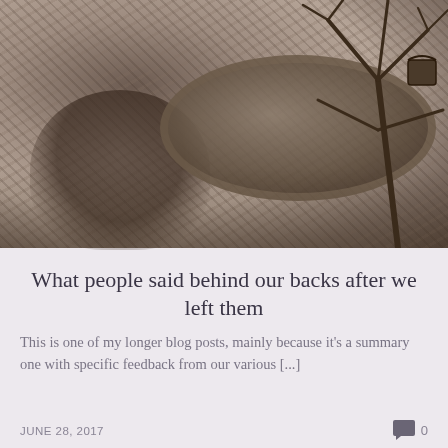[Figure (photo): Black and white photograph of a person crouching near a large round basin/tub outdoors, with tree branches visible on the right side, ground with sparse grass and soil visible]
What people said behind our backs after we left them
This is one of my longer blog posts, mainly because it's a summary one with specific feedback from our various [...]
JUNE 28, 2017   0